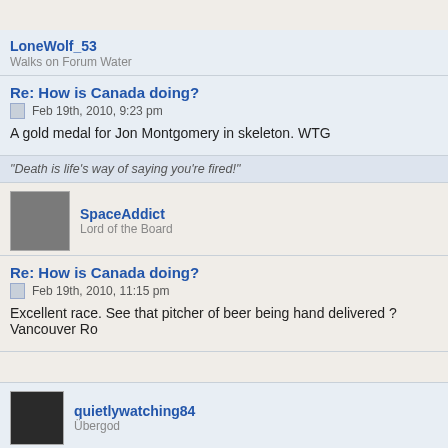LoneWolf_53
Walks on Forum Water
Re: How is Canada doing?
Feb 19th, 2010, 9:23 pm
A gold medal for Jon Montgomery in skeleton. WTG
"Death is life's way of saying you're fired!"
SpaceAddict
Lord of the Board
Re: How is Canada doing?
Feb 19th, 2010, 11:15 pm
Excellent race. See that pitcher of beer being hand delivered ? Vancouver Ro
quietlywatching84
Übergod